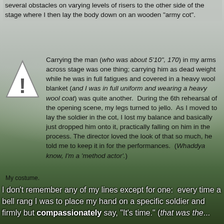several obstacles on varying levels of risers to the other side of the stage where I then lay the body down on an wooden "army cot".
[Figure (illustration): Warning/caution triangle icon with exclamation mark, gray background]
My costume.
Carrying the man (who was about 5'10", 170) in my arms across stage was one thing; carrying him as dead weight while he was in full fatigues and covered in a heavy wool blanket (and I was in full uniform and wearing a heavy wool coat) was quite another. During the 6th rehearsal of the opening scene, my legs turned to jello. As I moved to lay the soldier in the cot, I lost my balance and basically just dropped him onto it, practically falling on him in the process. The director loved the look of that so much, he told me to keep it in for the performances. (Whaddya know, I'm a 'method actor'.)
I don't remember any of my lines except for one: every time a bell rang I was to place my hand on a specific soldier and firmly but compassionately say, "It's time." (that was the...